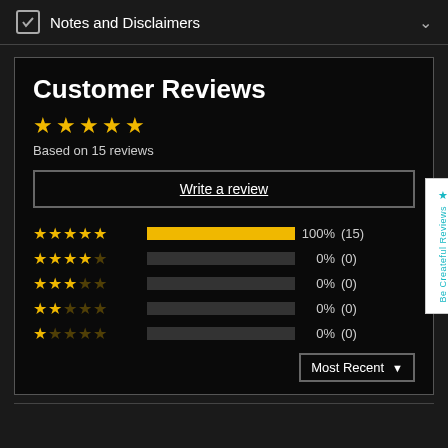Notes and Disclaimers
Customer Reviews
Based on 15 reviews
Write a review
| Stars | Bar | Percent | Count |
| --- | --- | --- | --- |
| 5 stars | 100% | 100% | (15) |
| 4 stars | 0% | 0% | (0) |
| 3 stars | 0% | 0% | (0) |
| 2 stars | 0% | 0% | (0) |
| 1 star | 0% | 0% | (0) |
Most Recent
Be Createful Reviews